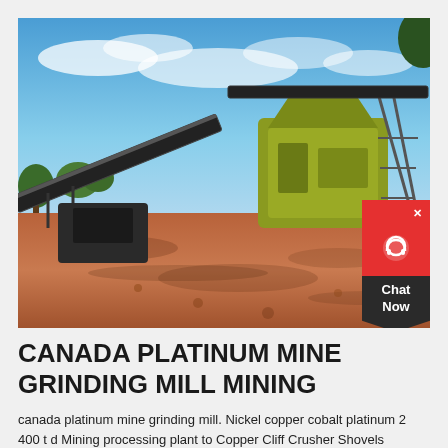[Figure (photo): Outdoor mining site showing a large green grinding mill machine with conveyor belts on red clay/dirt ground under a blue sky with clouds. Industrial mining equipment visible in background.]
CANADA PLATINUM MINE GRINDING MILL MINING
canada platinum mine grinding mill. Nickel copper cobalt platinum 2 400 t d Mining processing plant to Copper Cliff Crusher Shovels